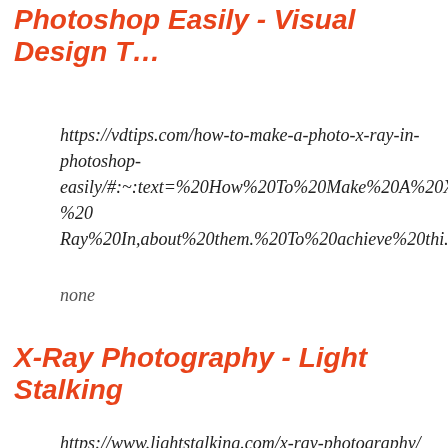Photoshop Easily - Visual Design T…
https://vdtips.com/how-to-make-a-photo-x-ray-in-photoshop-easily/#:~:text=%20How%20To%20Make%20A%20X-Ray%20In,about%20them.%20To%20achieve%20thi…
none
X-Ray Photography - Light Stalking
https://www.lightstalking.com/x-ray-photography/